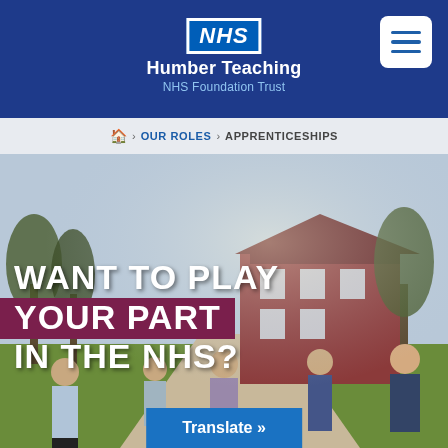NHS Humber Teaching NHS Foundation Trust
Home > OUR ROLES > APPRENTICESHIPS
[Figure (photo): Group of NHS staff standing outdoors in front of a brick building surrounded by trees, with overlaid text 'WANT TO PLAY YOUR PART IN THE NHS?']
Translate »